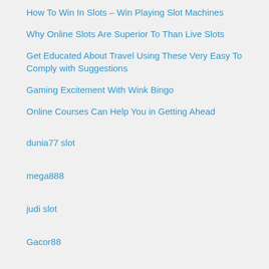How To Win In Slots – Win Playing Slot Machines
Why Online Slots Are Superior To Than Live Slots
Get Educated About Travel Using These Very Easy To Comply with Suggestions
Gaming Excitement With Wink Bingo
Online Courses Can Help You in Getting Ahead
dunia77 slot
mega888
judi slot
Gacor88